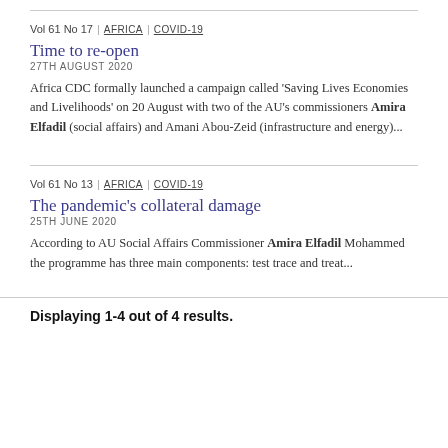Vol 61 No 17 | AFRICA | COVID-19
Time to re-open
27TH AUGUST 2020
Africa CDC formally launched a campaign called 'Saving Lives Economies and Livelihoods' on 20 August with two of the AU's commissioners Amira Elfadil (social affairs) and Amani Abou-Zeid (infrastructure and energy)...
Vol 61 No 13 | AFRICA | COVID-19
The pandemic's collateral damage
25TH JUNE 2020
According to AU Social Affairs Commissioner Amira Elfadil Mohammed the programme has three main components: test trace and treat...
Displaying 1-4 out of 4 results.